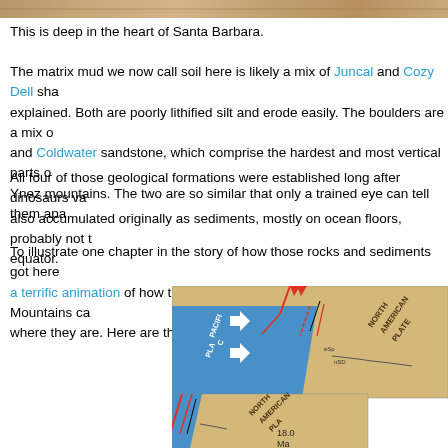[Figure (photo): Narrow horizontal strip of a photo at the top of the page, showing earthy/sandy terrain]
This is deep in the heart of Santa Barbara.
The matrix mud we now call soil here is likely a mix of Juncal and Cozy Dell sha... explained. Both are poorly lithified silt and erode easily. The boulders are a mix of... and Coldwater sandstone, which comprise the hardest and most vertical parts of... Ynez mountains. The two are so similar that only a trained eye can tell them apa...
All four of those geological formations were established long after dinosaurs va... also accumulated originally as sediments, mostly on ocean floors, probably not t... equator.
To illustrate one chapter in the story of how those rocks and sediments got here... a terrific animation of how the transverse (east-west) Santa Ynez Mountains ca... where they are. Here are three frames in that movie:
[Figure (map): Geological map/diagram showing the Pacific Plate and North American Plate with fault lines, arrows indicating plate movement directions, red and black lines indicating faults, labeled '18.0 Ma'. Shows two overlapping frames of an animation about the transverse Santa Ynez Mountains.]